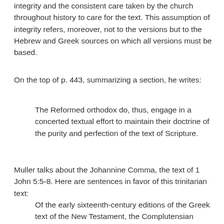integrity and the consistent care taken by the church throughout history to care for the text. This assumption of integrity refers, moreover, not to the versions but to the Hebrew and Greek sources on which all versions must be based.
On the top of p. 443, summarizing a section, he writes:
The Reformed orthodox do, thus, engage in a concerted textual effort to maintain their doctrine of the purity and perfection of the text of Scripture.
Muller talks about the Johannine Comma, the text of 1 John 5:5-8. Here are sentences in favor of this trinitarian text:
Of the early sixteenth-century editions of the Greek text of the New Testament, the Complutensian Polyglott (1504-1514) includes